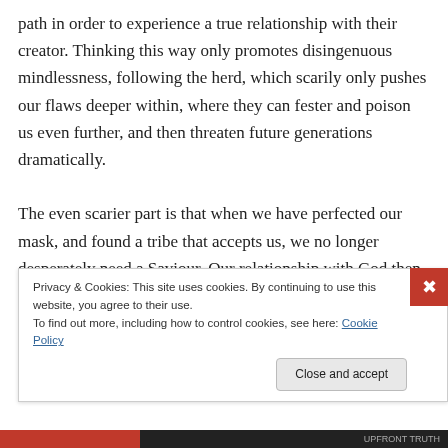path in order to experience a true relationship with their creator. Thinking this way only promotes disingenuous mindlessness, following the herd, which scarily only pushes our flaws deeper within, where they can fester and poison us even further, and then threaten future generations dramatically.

The even scarier part is that when we have perfected our mask, and found a tribe that accepts us, we no longer desperately need a Saviour. Our relationship with God then also lacks the authenticity vital for changing our
Privacy & Cookies: This site uses cookies. By continuing to use this website, you agree to their use.
To find out more, including how to control cookies, see here: Cookie Policy
Close and accept